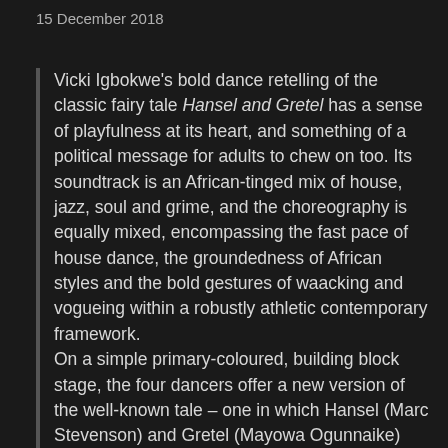15 December 2018
Vicki Igbokwe's bold dance retelling of the classic fairy tale Hansel and Gretel has a sense of playfulness at its heart, and something of a political message for adults to chew on too. Its soundtrack is an African-tinged mix of house, jazz, soul and grime, and the choreography is equally mixed, encompassing the fast pace of house dance, the groundedness of African styles and the bold gestures of waacking and vogueing within a robustly athletic contemporary framework. On a simple primary-coloured, building block stage, the four dancers offer a new version of the well-known tale – one in which Hansel (Marc Stevenson) and Gretel (Mayowa Ogunnaike) start in an African village, head off on their own to the big city, pick up a guardian, Wasi (Esme Benjamin), then end up first in Dover and then in Brixton, negotiating the capital and